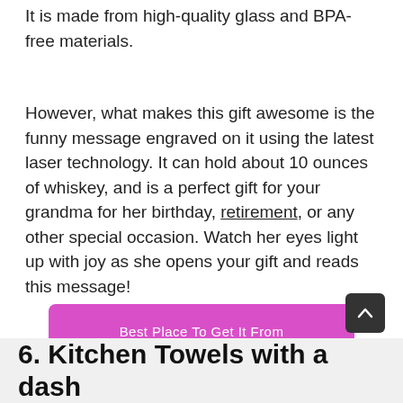whiskey shot glass will impress her tremendously. It is made from high-quality glass and BPA-free materials.
However, what makes this gift awesome is the funny message engraved on it using the latest laser technology. It can hold about 10 ounces of whiskey, and is a perfect gift for your grandma for her birthday, retirement, or any other special occasion. Watch her eyes light up with joy as she opens your gift and reads this message!
Best Place To Get It From
6. Kitchen Towels with a dash